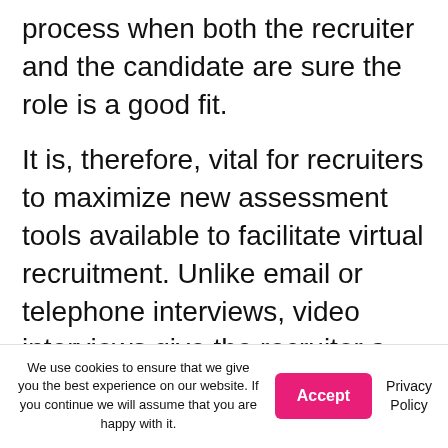process when both the recruiter and the candidate are sure the role is a good fit.
It is, therefore, vital for recruiters to maximize new assessment tools available to facilitate virtual recruitment. Unlike email or telephone interviews, video interviews give the recruiter a more comprehensive perspective of potential candidates. With video conferencing now widely accepted, the interaction can still be personalized and used to establish
We use cookies to ensure that we give you the best experience on our website. If you continue we will assume that you are happy with it.
Accept
Privacy Policy